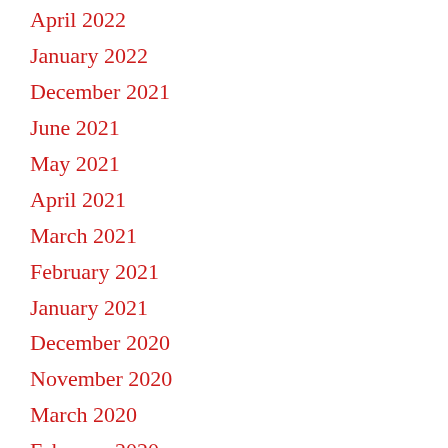April 2022
January 2022
December 2021
June 2021
May 2021
April 2021
March 2021
February 2021
January 2021
December 2020
November 2020
March 2020
February 2020